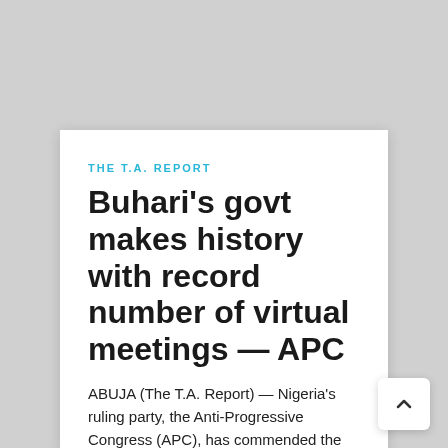THE T.A. REPORT
Buhari's govt makes history with record number of virtual meetings — APC
ABUJA (The T.A. Report) — Nigeria's ruling party, the Anti-Progressive Congress (APC), has commended the